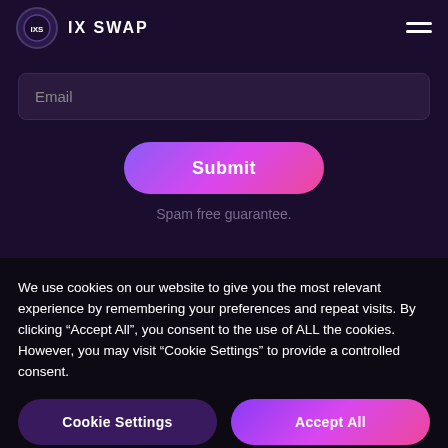IX SWAP
Email
Submit
Spam free guarantee.
We use cookies on our website to give you the most relevant experience by remembering your preferences and repeat visits. By clicking “Accept All”, you consent to the use of ALL the cookies. However, you may visit “Cookie Settings” to provide a controlled consent.
Cookie Settings
Accept All